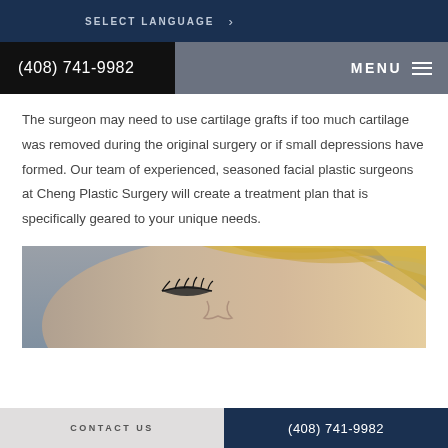SELECT LANGUAGE
(408) 741-9982   MENU
The surgeon may need to use cartilage grafts if too much cartilage was removed during the original surgery or if small depressions have formed. Our team of experienced, seasoned facial plastic surgeons at Cheng Plastic Surgery will create a treatment plan that is specifically geared to your unique needs.
[Figure (photo): Close-up photo of a blonde woman's face, showing her eye and nose area from the side]
CONTACT US   (408) 741-9982